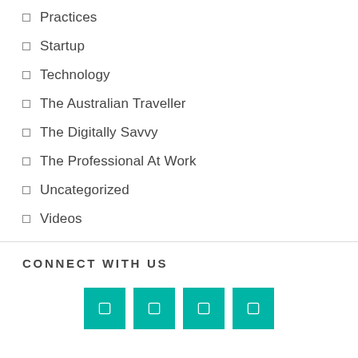Practices
Startup
Technology
The Australian Traveller
The Digitally Savvy
The Professional At Work
Uncategorized
Videos
CONNECT WITH US
[Figure (infographic): Four teal square social media icon buttons in a row]